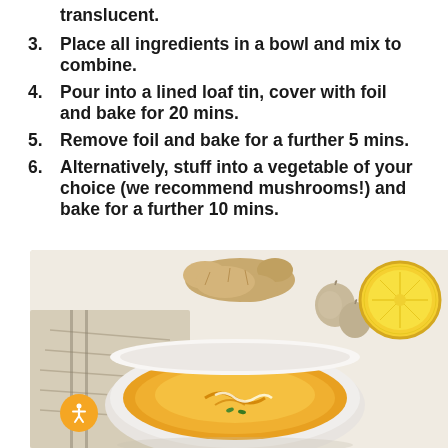translucent.
3. Place all ingredients in a bowl and mix to combine.
4. Pour into a lined loaf tin, cover with foil and bake for 20 mins.
5. Remove foil and bake for a further 5 mins.
6. Alternatively, stuff into a vegetable of your choice (we recommend mushrooms!) and bake for a further 10 mins.
[Figure (photo): Overhead shot of a bowl of golden/yellow soup on a light surface, surrounded by ginger root, garlic cloves, and a halved lemon, with a folded cloth napkin beside the bowl.]